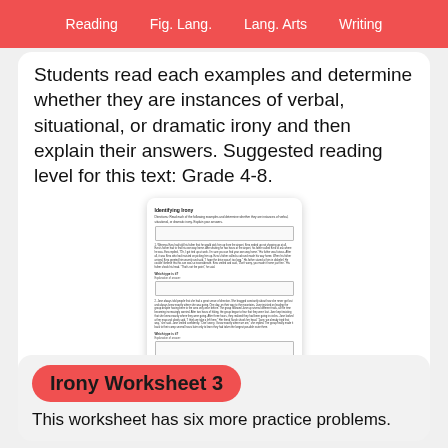Reading   Fig. Lang.   Lang. Arts   Writing
Students read each examples and determine whether they are instances of verbal, situational, or dramatic irony and then explain their answers. Suggested reading level for this text: Grade 4-8.
[Figure (screenshot): A thumbnail preview of an identifying irony worksheet with text passages, questions, and answer boxes.]
Irony Worksheet 3
This worksheet has six more practice problems.